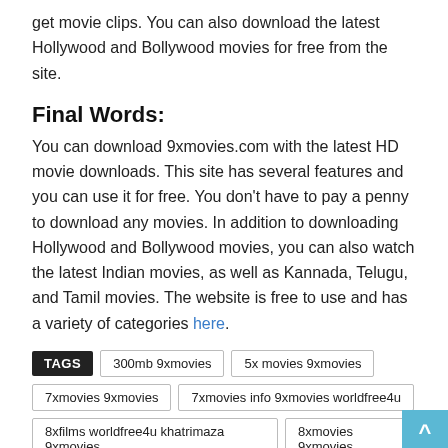get movie clips. You can also download the latest Hollywood and Bollywood movies for free from the site.
Final Words:
You can download 9xmovies.com with the latest HD movie downloads. This site has several features and you can use it for free. You don't have to pay a penny to download any movies. In addition to downloading Hollywood and Bollywood movies, you can also watch the latest Indian movies, as well as Kannada, Telugu, and Tamil movies. The website is free to use and has a variety of categories here.
TAGS  300mb 9xmovies  5x movies 9xmovies  7xmovies 9xmovies  7xmovies info 9xmovies worldfree4u  8xfilms worldfree4u khatrimaza 9xmovies  8xmovies 9xmovies  8xmovies 9xmovies in